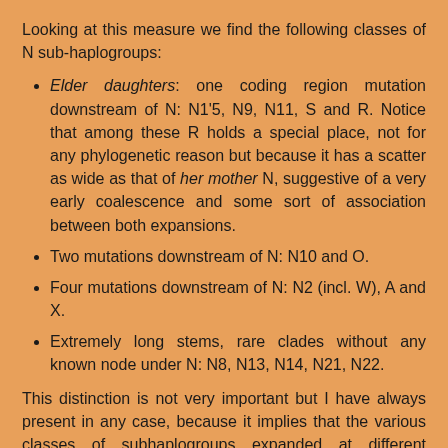Looking at this measure we find the following classes of N sub-haplogroups:
Elder daughters: one coding region mutation downstream of N: N1'5, N9, N11, S and R. Notice that among these R holds a special place, not for any phylogenetic reason but because it has a scatter as wide as that of her mother N, suggestive of a very early coalescence and some sort of association between both expansions.
Two mutations downstream of N: N10 and O.
Four mutations downstream of N: N2 (incl. W), A and X.
Extremely long stems, rare clades without any known node under N: N8, N13, N14, N21, N22.
This distinction is not very important but I have always present in any case, because it implies that the various classes of subhaplogroups expanded at different moments after the N node. Notably there is a "pause" at the place of the third mutation and then after the fourth. So we can well